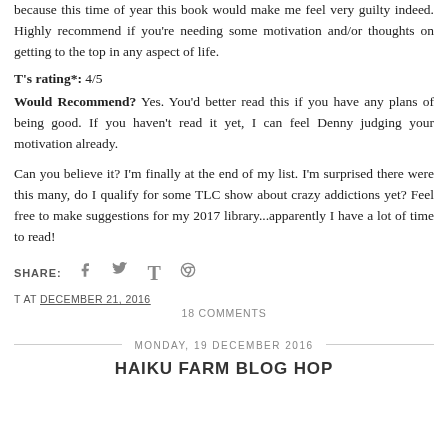because this time of year this book would make me feel very guilty indeed. Highly recommend if you're needing some motivation and/or thoughts on getting to the top in any aspect of life.
T's rating*: 4/5
Would Recommend? Yes. You'd better read this if you have any plans of being good. If you haven't read it yet, I can feel Denny judging your motivation already.
Can you believe it? I'm finally at the end of my list. I'm surprised there were this many, do I qualify for some TLC show about crazy addictions yet? Feel free to make suggestions for my 2017 library...apparently I have a lot of time to read!
SHARE:
T AT DECEMBER 21, 2016
18 COMMENTS
MONDAY, 19 DECEMBER 2016
HAIKU FARM BLOG HOP